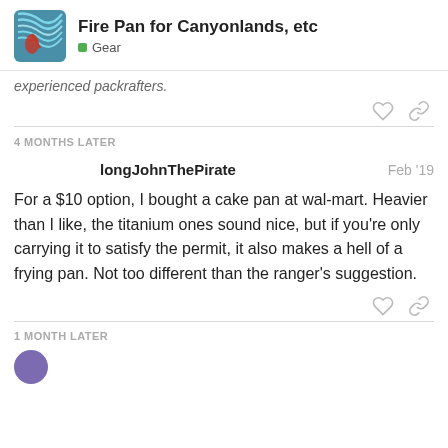Fire Pan for Canyonlands, etc — Gear
experienced packrafters.
4 MONTHS LATER
longJohnThePirate   Feb '19
For a $10 option, I bought a cake pan at wal-mart. Heavier than I like, the titanium ones sound nice, but if you're only carrying it to satisfy the permit, it also makes a hell of a frying pan. Not too different than the ranger's suggestion.
1 MONTH LATER